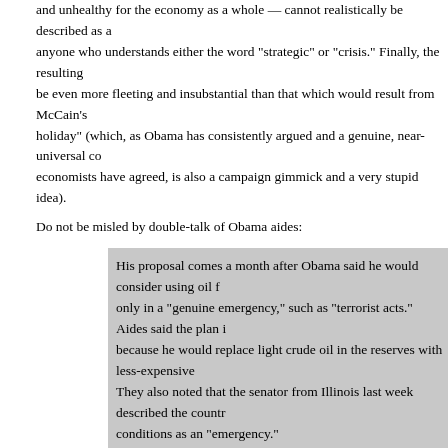and unhealthy for the economy as a whole — cannot realistically be described as a anyone who understands either the word "strategic" or "crisis." Finally, the resulting be even more fleeting and insubstantial than that which would result from McCain's holiday" (which, as Obama has consistently argued and a genuine, near-universal co economists have agreed, is also a campaign gimmick and a very stupid idea).
Do not be misled by double-talk of Obama aides:
His proposal comes a month after Obama said he would consider using oil f only in a "genuine emergency," such as "terrorist acts." Aides said the plan i because he would replace light crude oil in the reserves with less-expensive They also noted that the senator from Illinois last week described the countr conditions as an "emergency."
Use your common sense: Why do you think heavy crude is less expensive? It's fille other contaminants that, in turn, require more expensive refining processes that are Anyone who tells you that a barrel of heavy crude and a barrel of light, sweet crude liar, and they're taking you for a fool to boot. This is like saying, "I'm not depleting emergency cash stash by removing the $20 bills; why, for every $20 bill I'm taking back in, so there's no depletion at all!"
Those who are too young to have experienced the 1973-1974 crisis, who can't reme remember it as vividly as I do, and who haven't learned about it in their study of An I can forgive if they're not running for president. But for someone purportedly as sm with prestigious degrees from Ivy League universities, who's making grand plans...